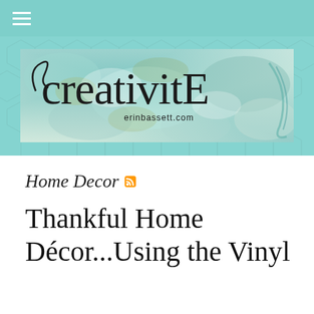≡
[Figure (logo): CreativitE erinbassett.com blog header banner with teal abstract painted background and cursive/handwritten logo text]
Home Decor
Thankful Home Décor...Using the Vinyl